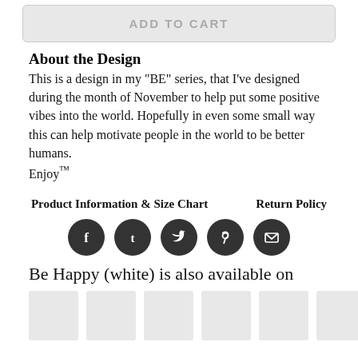[Figure (other): Add to Cart button (disabled/greyed out)]
About the Design
This is a design in my "BE" series, that I've designed during the month of November to help put some positive vibes into the world. Hopefully in even some small way this can help motivate people in the world to be better humans.
Enjoy™
Product Information & Size Chart     Return Policy
[Figure (other): Social sharing icons row: Facebook, Tumblr, Twitter, Pinterest, Email]
Be Happy (white) is also available on
[Figure (other): Row of product thumbnail images (greyed placeholder boxes)]